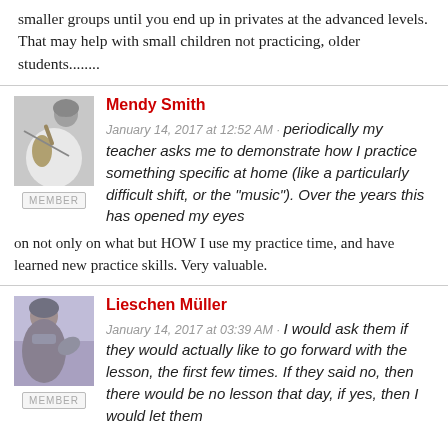smaller groups until you end up in privates at the advanced levels. That may help with small children not practicing, older students........
Mendy Smith
January 14, 2017 at 12:52 AM · periodically my teacher asks me to demonstrate how I practice something specific at home (like a particularly difficult shift, or the "music"). Over the years this has opened my eyes on not only on what but HOW I use my practice time, and have learned new practice skills. Very valuable.
Lieschen Müller
January 14, 2017 at 03:39 AM · I would ask them if they would actually like to go forward with the lesson, the first few times. If they said no, then there would be no lesson that day, if yes, then I would let them